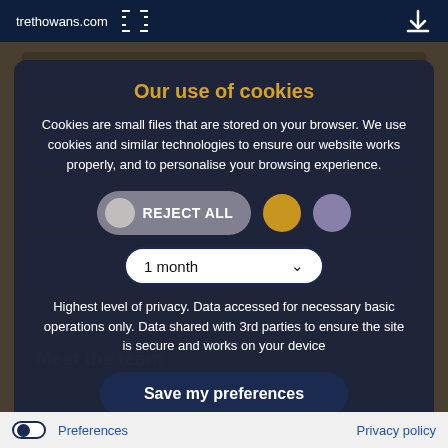trethowans.com
Our use of cookies
Cookies are small files that are stored on your browser. We use cookies and similar technologies to ensure our website works properly, and to personalise your browsing experience.
REJECT ALL
1 month
Highest level of privacy. Data accessed for necessary basic operations only. Data shared with 3rd parties to ensure the site is secure and works on your device
Save my preferences
Preferences   Privacy policy